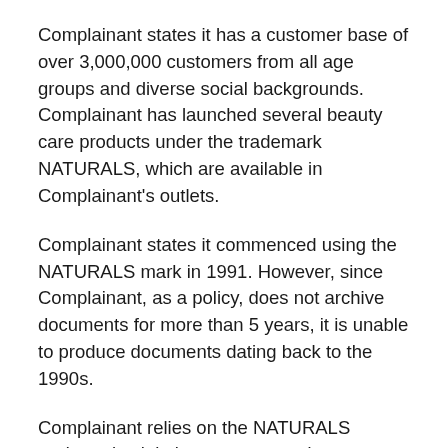Complainant states it has a customer base of over 3,000,000 customers from all age groups and diverse social backgrounds. Complainant has launched several beauty care products under the trademark NATURALS, which are available in Complainant's outlets.
Complainant states it commenced using the NATURALS mark in 1991. However, since Complainant, as a policy, does not archive documents for more than 5 years, it is unable to produce documents dating back to the 1990s.
Complainant relies on the NATURALS trademark, claiming statutory and common law rights. Complainant refers to the following Indian trademark registration and application,